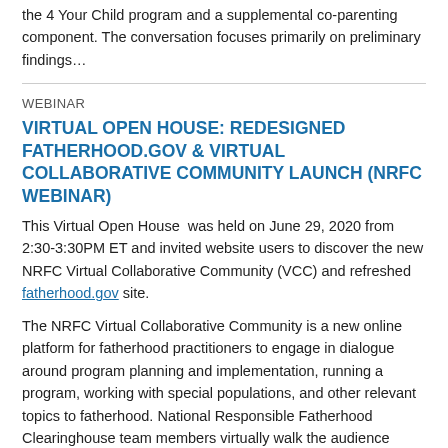the 4 Your Child program and a supplemental co-parenting component. The conversation focuses primarily on preliminary findings…
WEBINAR
VIRTUAL OPEN HOUSE: REDESIGNED FATHERHOOD.GOV & VIRTUAL COLLABORATIVE COMMUNITY LAUNCH (NRFC WEBINAR)
This Virtual Open House  was held on June 29, 2020 from 2:30-3:30PM ET and invited website users to discover the new NRFC Virtual Collaborative Community (VCC) and refreshed fatherhood.gov site.
The NRFC Virtual Collaborative Community is a new online platform for fatherhood practitioners to engage in dialogue around program planning and implementation, running a program, working with special populations, and other relevant topics to fatherhood. National Responsible Fatherhood Clearinghouse team members virtually walk the audience